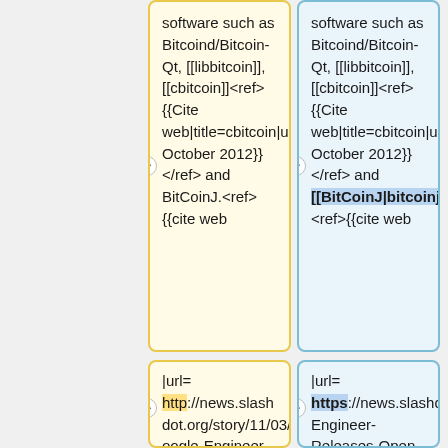software such as Bitcoind/Bitcoin-Qt, [[libbitcoin]], [[cbitcoin]]<ref>{{Cite web|title=cbitcoin|url=https://github.com/MatthewLM/cbitcoin|accessdate=3 October 2012}}</ref> and BitCoinJ.<ref>{{cite web
software such as Bitcoind/Bitcoin-Qt, [[libbitcoin]], [[cbitcoin]]<ref>{{Cite web|title=cbitcoin|url=https://github.com/MatthewLM/cbitcoin|accessdate=3 October 2012}}</ref> and [[BitCoinJ|bitcoinj]].<ref>{{cite web
|url= http://news.slashdot.org/story/11/03/23/0210207/Google-Engineer-Releases-Open-Source-Bitcoin-Client
|url= https://news.slashdot.org/story/11/03/23/0210207/Google-Engineer-Releases-Open-Source-Bitcoin-